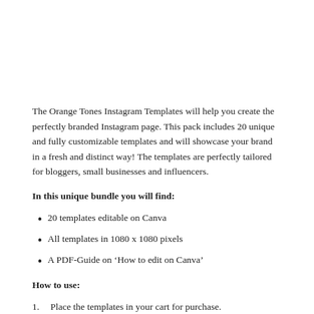The Orange Tones Instagram Templates will help you create the perfectly branded Instagram page. This pack includes 20 unique and fully customizable templates and will showcase your brand in a fresh and distinct way! The templates are perfectly tailored for bloggers, small businesses and influencers.
In this unique bundle you will find:
20 templates editable on Canva
All templates in 1080 x 1080 pixels
A PDF-Guide on ‘How to edit on Canva’
How to use:
Place the templates in your cart for purchase.